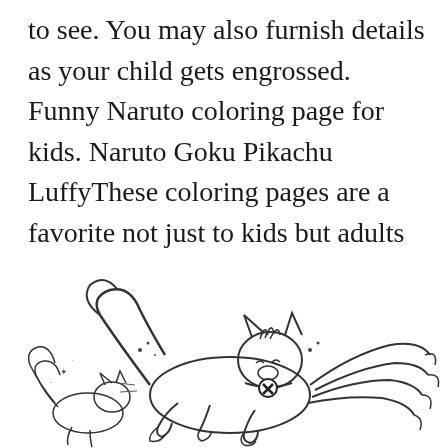to see. You may also furnish details as your child gets engrossed. Funny Naruto coloring page for kids. Naruto Goku Pikachu LuffyThese coloring pages are a favorite not just to kids but adults too. Pin On Coloring Pages Pokemon Color.
[Figure (illustration): Line art coloring page illustration of a fox-like Pokemon (Ninetales/Vulpix style) running or leaping, with multiple tails visible on the right side. The creature has pointed ears and a collar with a circular symbol. Small motion lines and dots indicate movement. The image is black and white outline style typical of a coloring page.]